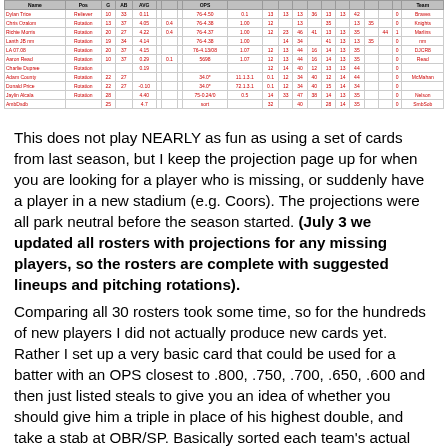| Name | Pos | G | AB | AVG |  |  |  | OPS |  |  |  |  |  |  |  |  |  |  |  |  | Team |
| --- | --- | --- | --- | --- | --- | --- | --- | --- | --- | --- | --- | --- | --- | --- | --- | --- | --- | --- | --- | --- | --- |
| Dylan Trice | Reliever | 10 | 33 | 0.11 |  |  |  | 76-4.50 | 0.1 | 13 | 13 | 13 | 36 | 13 | 13 | 42 |  |  | 0 | Braves |
| Chris Ozalom | Rotation | 13 | 37 | 4.05 |  | 0.4 |  | 76-4.38 | 1.00 | 12 |  | 13 |  | 35 |  | 13 | 35 |  |  | 0 | Knights |
| Richie Morris | Rotation | 20 | 27 | 4.22 |  | 0.4 |  | 76-4.37 | 1.00 | 12 | 23 | 46 | 41 | 13 | 13 | 35 |  | 44 | 1 | Marlins |
| Lanth JB nm | Rotation | 19 | 34 | 4.14 |  |  |  | 76-4.38 | 1.00 |  | 14 | 34 |  | 41 | 13 | 13 | 35 |  |  | 0 | nm |
| LA 07.08 | Rotation | 20 | 37 | 4.15 |  |  |  | 76-4.13/08 | 1.07 | 12 | 13 | 44 | 16 | 14 | 13 | 35 |  |  | 0 | DJCR8 |
| Aaron Read | Rotation | 10 | 37 | 0.29 |  | 0.1 |  | 5698 | 1.07 | 12 | 13 | 44 | 16 | 14 | 13 | 35 |  |  | 0 | Read |
| Charlie Dupree | Rotation |  |  | 0.19 |  |  |  |  |  | 12 | 14 | 40 | 12 | 13 | 13 | 44 |  |  | 0 |  |
| Adam County | Rotation | 22 | 27 |  |  |  |  | 34.0* | 11.1.3.1 | 0.1 | 12 | 34 | 40 | 12 | 14 | 44 |  |  | 0 | McMahan |
| Donald Price | Rotation | 22 | 27 | -0.10 |  |  |  | 34.0* | 72.1.3.1 | 0.1 | 12 | 34 | 40 | 15 | 14 | 34 |  |  | 0 |  |
| Jaylin Alcala | Rotation | 28 |  | 4.40 |  |  |  | 75-0.24/0 | 0.5 | 14 | 33 | 47 | 38 | 14 | 13 | 35 |  |  | 0 | Nelson |
| AmbDsdb |  | 25 |  | 4.7 |  |  |  | sort |  | 32 |  | 40 |  | 28 | 14 | 35 |  |  | 0 | SmbSob |
This does not play NEARLY as fun as using a set of cards from last season, but I keep the projection page up for when you are looking for a player who is missing, or suddenly have a player in a new stadium (e.g. Coors). The projections were all park neutral before the season started. (July 3 we updated all rosters with projections for any missing players, so the rosters are complete with suggested lineups and pitching rotations).
Comparing all 30 rosters took some time, so for the hundreds of new players I did not actually produce new cards yet. Rather I set up a very basic card that could be used for a batter with an OPS closest to .800, .750, .700, .650, .600 and then just listed steals to give you an idea of whether you should give him a triple in place of his highest double, and take a stab at OBR/SP. Basically sorted each team's actual roster plus DLs by OPS and then by ERA. The yellow means I do not have a card for them but wanted to at